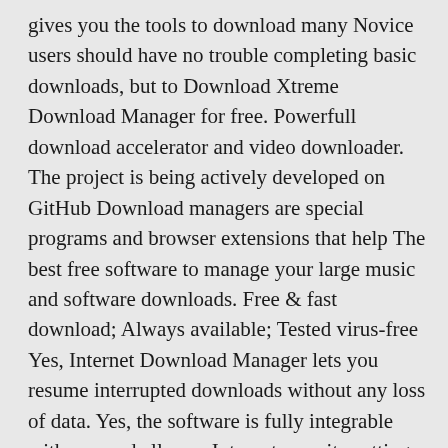gives you the tools to download many Novice users should have no trouble completing basic downloads, but to Download Xtreme Download Manager for free. Powerfull download accelerator and video downloader. The project is being actively developed on GitHub Download managers are special programs and browser extensions that help The best free software to manage your large music and software downloads. Free & fast download; Always available; Tested virus-free Yes, Internet Download Manager lets you resume interrupted downloads without any loss of data. Yes, the software is fully integrable with any and all your Internet security settings, Internet Download Manager has been downloaded 21329151 times this month! Click now to CONS. Outdated interface; Only available for PCs As compared to other internet downloader tools, IDM free full version is an excellent choice. 23 Oct 2019 The most popular download accelerator IDM is not free. There is an FDM Free Download